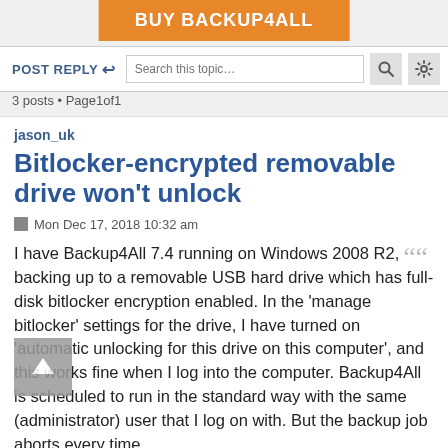BUY BACKUP4ALL
POST REPLY | Search this topic... | [search icon] [settings icon]
3 posts • Page1of1
jason_uk
Bitlocker-encrypted removable drive won't unlock
Mon Dec 17, 2018 10:32 am
I have Backup4All 7.4 running on Windows 2008 R2, backing up to a removable USB hard drive which has full-disk bitlocker encryption enabled. In the 'manage bitlocker' settings for the drive, I have turned on 'automatic unlocking for this drive on this computer', and this works fine when I log into the computer. Backup4All is scheduled to run in the standard way with the same (administrator) user that I log on with. But the backup job aborts every time